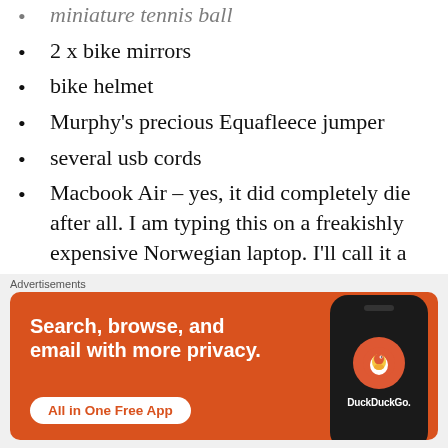miniature tennis ball
2 x bike mirrors
bike helmet
Murphy's precious Equafleece jumper
several usb cords
Macbook Air – yes, it did completely die after all. I am typing this on a freakishly expensive Norwegian laptop. I'll call it a 'souvenir' since it has all the funny Norwegian letters on the keyboard. No excuse to spell Bodø Bodo anymore!
silk sleeping bag liner
[Figure (infographic): DuckDuckGo advertisement banner: orange background with white text 'Search, browse, and email with more privacy.' and a white button 'All in One Free App', with a phone showing the DuckDuckGo logo on the right.]